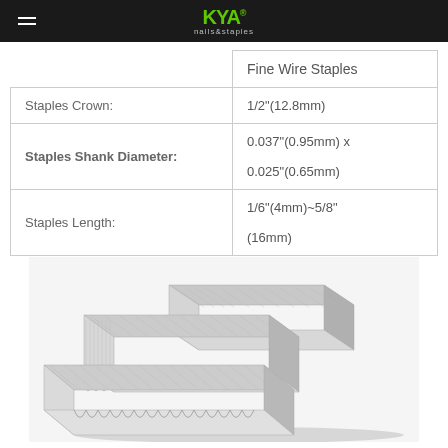KYA nails&staples
|  | Fine Wire Staples |
| Staples Crown: | 1/2"(12.8mm) |
| Staples Shank Diameter: | 0.037"(0.95mm) x 0.025"(0.65mm) |
| Staples Length: | 1/6"(4mm)~5/8"(16mm) |
[Figure (photo): Three stacks of fine wire staples arranged side by side, shown in metallic silver color, photographed from a slight angle to show the U-shaped wire form of the staples.]